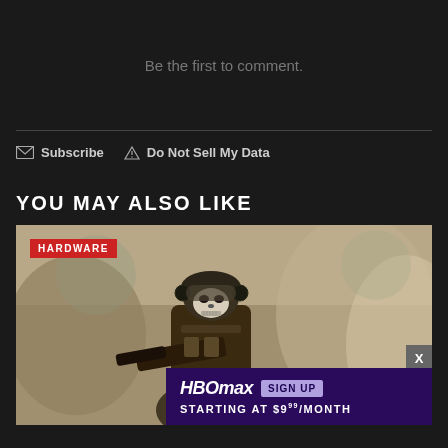Be the first to comment.
Subscribe   Do Not Sell My Data
YOU MAY ALSO LIKE
[Figure (photo): Gaming screenshot showing an armored soldier/character with a skull mask and military gear, with a 'HARDWARE' red badge overlay in the top left, and an HBO Max advertisement overlay in the bottom right with 'SIGN UP' button and 'STARTING AT $9.99/MONTH' text.]